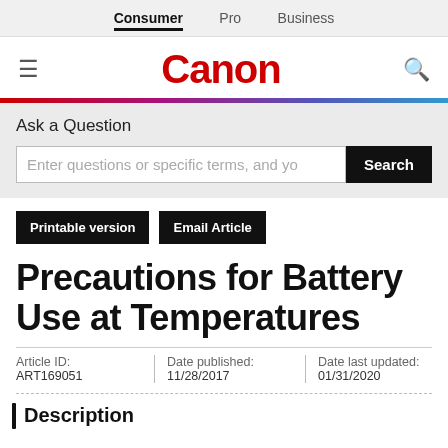Consumer | Pro | Business
[Figure (logo): Canon logo in red with hamburger menu icon and search icon]
Ask a Question
Enter questions or specific terms, and yo [Search]
Printable version | Email Article
Precautions for Battery Use at Temperatures
Article ID: ART169051 | Date published: 11/28/2017 | Date last updated: 01/31/2020
Description